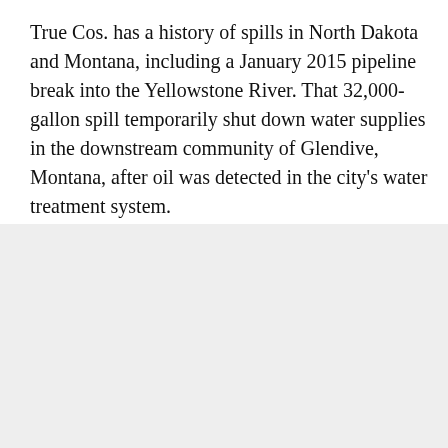True Cos. has a history of spills in North Dakota and Montana, including a January 2015 pipeline break into the Yellowstone River. That 32,000-gallon spill temporarily shut down water supplies in the downstream community of Glendive, Montana, after oil was detected in the city's water treatment system.